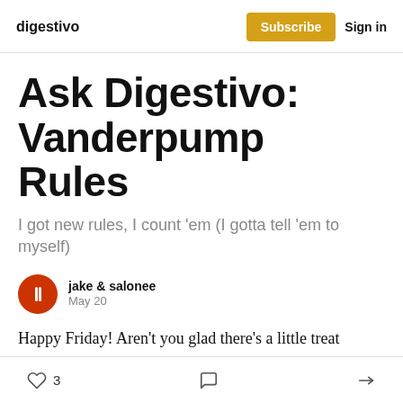digestivo | Subscribe | Sign in
Ask Digestivo: Vanderpump Rules
I got new rules, I count 'em (I gotta tell 'em to myself)
jake & salonee
May 20
Happy Friday! Aren't you glad there's a little treat waiting in your inbox, ready to help you digest the
3 likes | comment | share